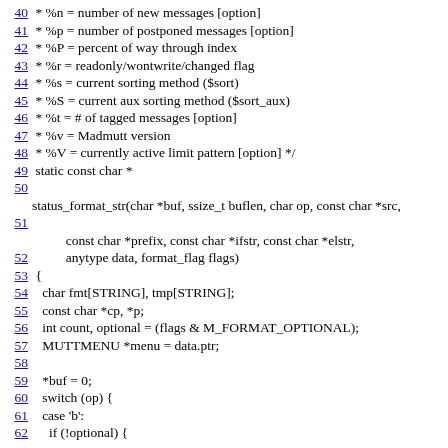40  * %n = number of new messages [option]
41  * %p = number of postponed messages [option]
42  * %P = percent of way through index
43  * %r = readonly/wontwrite/changed flag
44  * %s = current sorting method ($sort)
45  * %S = current aux sorting method ($sort_aux)
46  * %t = # of tagged messages [option]
47  * %v = Madmutt version
48  * %V = currently active limit pattern [option] */
49  static const char *
50
status_format_str(char *buf, ssize_t buflen, char op, const char *src,
51
              const char *prefix, const char *ifstr, const char *elstr,
52              anytype data, format_flag flags)
53  {
54    char fmt[STRING], tmp[STRING];
55    const char *cp, *p;
56    int count, optional = (flags & M_FORMAT_OPTIONAL);
57    MUTTMENU *menu = data.ptr;
58
59    *buf = 0;
60    switch (op) {
61    case 'b':
62      if (!optional) {